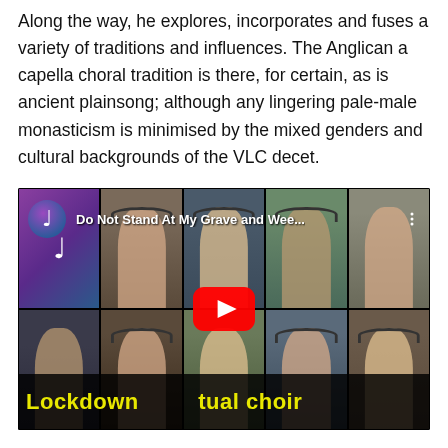Along the way, he explores, incorporates and fuses a variety of traditions and influences. The Anglican a capella choral tradition is there, for certain, as is ancient plainsong; although any lingering pale-male monasticism is minimised by the mixed genders and cultural backgrounds of the VLC decet.
[Figure (screenshot): YouTube video thumbnail showing a lockdown virtual choir performance of 'Do Not Stand At My Grave and Wee...' with a 2x5 grid of singers' faces, a YouTube play button overlay, and a yellow text bar reading 'Lockdown virtual choir' on a black background.]